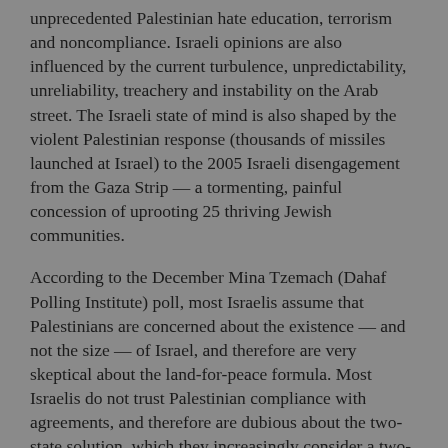unprecedented Palestinian hate education, terrorism and noncompliance. Israeli opinions are also influenced by the current turbulence, unpredictability, unreliability, treachery and instability on the Arab street. The Israeli state of mind is also shaped by the violent Palestinian response (thousands of missiles launched at Israel) to the 2005 Israeli disengagement from the Gaza Strip — a tormenting, painful concession of uprooting 25 thriving Jewish communities.
According to the December Mina Tzemach (Dahaf Polling Institute) poll, most Israelis assume that Palestinians are concerned about the existence — and not the size — of Israel, and therefore are very skeptical about the land-for-peace formula. Most Israelis do not trust Palestinian compliance with agreements, and therefore are dubious about the two-state solution, which they increasingly consider a two-state delusion.
For instance, 76% (83% among Israeli Jews) believe that an Israeli retreat to the pre-1967 sliver along the Mediterranean would not satisfy the Palestinians or other Arabs. Only 22% (15% among Israeli Jews) assume that such a concession would produce an end to the conflict. About 74% of Israelis are convinced that strategic